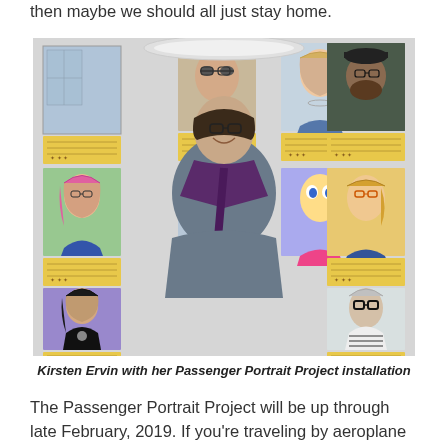then maybe we should all just stay home.
[Figure (photo): Kirsten Ervin standing in front of a wall displaying the Passenger Portrait Project — a grid of painted portraits of airline passengers, each with small yellow label cards beneath them.]
Kirsten Ervin with her Passenger Portrait Project installation
The Passenger Portrait Project will be up through late February, 2019. If you're traveling by aeroplane between